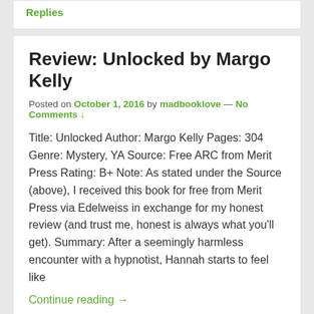Replies
Review: Unlocked by Margo Kelly
Posted on October 1, 2016 by madbooklove — No Comments ↓
Title: Unlocked Author: Margo Kelly Pages: 304 Genre: Mystery, YA Source: Free ARC from Merit Press Rating: B+ Note: As stated under the Source (above), I received this book for free from Merit Press via Edelweiss in exchange for my honest review (and trust me, honest is always what you'll get). Summary: After a seemingly harmless encounter with a hypnotist, Hannah starts to feel like
Continue reading →
Share this: